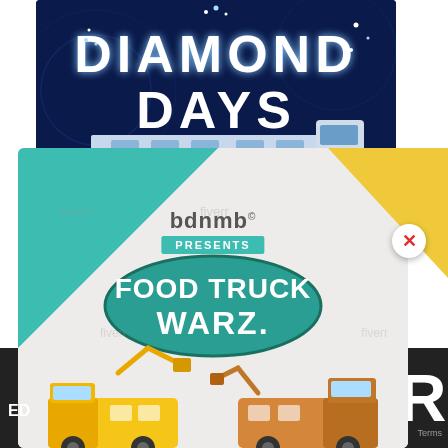[Figure (illustration): Diamond Days promotional card with dark navy blue background, diamond-studded text reading DIAMOND DAYS, and a white RV/trailer at the bottom.]
[Figure (illustration): bdnmb presents Food Truck Warz promotional flyer with teal and yellow/white background, food truck illustrations, teal banner with white text reading FOOD TRUCK WARZ, and a close (X) button overlay.]
SEPTEMBER